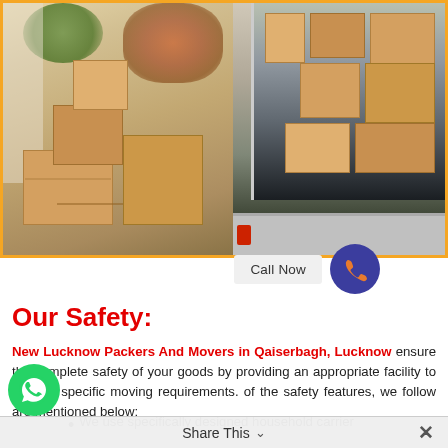[Figure (photo): Photo of moving boxes stacked outside a house and inside a moving truck. Cardboard boxes of various sizes are shown in an outdoor setting near a house entrance, and more boxes are stacked inside a moving vehicle on the right side.]
Call Now
Our Safety:
New Lucknow Packers And Movers in Qaiserbagh, Lucknow ensure the complete safety of your goods by providing an appropriate facility to suit the specific moving requirements. of the safety features, we follow are mentioned below:
We use specifically designed household carrier
Share This